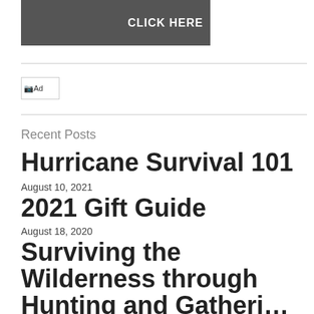[Figure (photo): Car engine with jumper cables and a hand holding a device; text overlay 'CLICK HERE']
[Figure (other): Small broken image icon labeled 'Ad']
Recent Posts
Hurricane Survival 101
August 10, 2021
2021 Gift Guide
August 18, 2020
Surviving the Wilderness through Hunting and Gathering